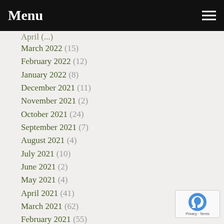Menu
March 2022 (15)
February 2022 (12)
January 2022 (8)
December 2021 (11)
November 2021 (2)
October 2021 (24)
September 2021 (7)
August 2021 (4)
July 2021 (10)
June 2021 (2)
May 2021 (4)
April 2021 (41)
March 2021 (62)
February 2021 (55)
January 2021 (58)
December 2020 (56)
November 2020 (55)
October 2020 (34)